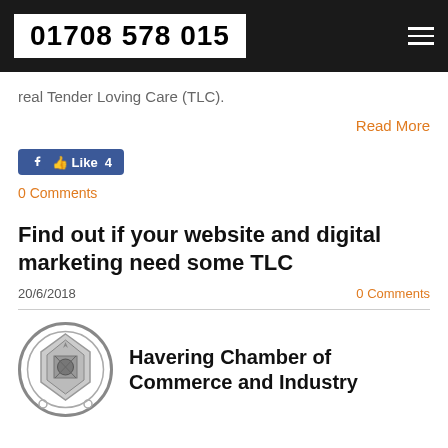01708 578 015
real Tender Loving Care (TLC).
Read More
[Figure (other): Facebook Like button showing 'Like 4']
0 Comments
Find out if your website and digital marketing need some TLC
20/6/2018
0 Comments
[Figure (logo): Havering Chamber of Commerce and Industry circular logo in grey]
Havering Chamber of Commerce and Industry